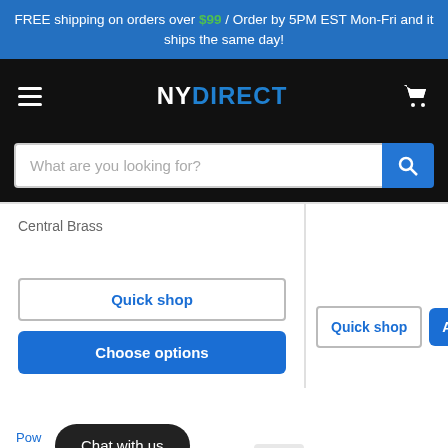FREE shipping on orders over $99 / Order by 5PM EST Mon-Fri and it ships the same day!
[Figure (logo): NYDirect logo in navbar with hamburger menu and cart icon]
[Figure (screenshot): Search bar with placeholder 'What are you looking for?' and blue search button]
Central Brass
Quick shop
Choose options
Quick shop
Add to cart
Chat with us
Pow...